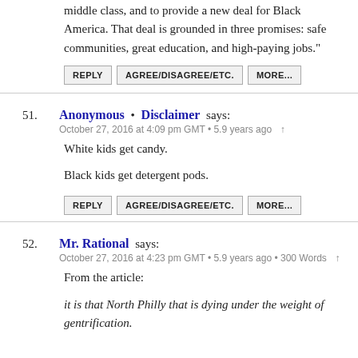middle class, and to provide a new deal for Black America. That deal is grounded in three promises: safe communities, great education, and high-paying jobs."
REPLY   AGREE/DISAGREE/ETC.   MORE...
51. Anonymous • Disclaimer says:
October 27, 2016 at 4:09 pm GMT • 5.9 years ago ↑
White kids get candy.

Black kids get detergent pods.
REPLY   AGREE/DISAGREE/ETC.   MORE...
52. Mr. Rational says:
October 27, 2016 at 4:23 pm GMT • 5.9 years ago • 300 Words ↑
From the article:
it is that North Philly that is dying under the weight of gentrification.